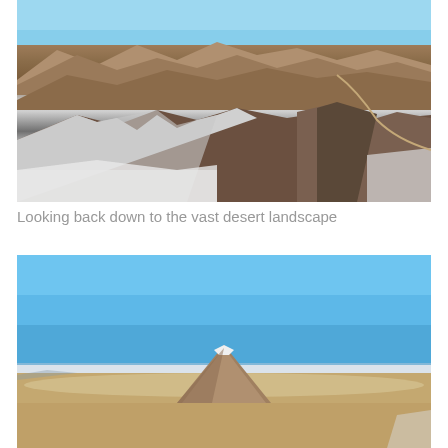[Figure (photo): Aerial or elevated view looking back down at a vast desert mountain landscape. Rocky, snow-patched mountain ridges in the foreground with brown arid desert terrain and additional mountain peaks extending into the distance under a clear blue sky.]
Looking back down to the vast desert landscape
[Figure (photo): Aerial view from a high altitude showing a clear blue sky occupying the upper half of the image and a lone conical volcano/mountain peak rising from a flat desert plain below, likely the Atacama Desert region.]